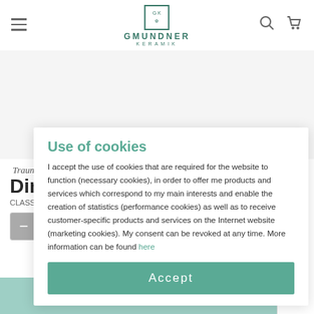[Figure (logo): Gmundner Keramik logo with emblem and green text]
Traunsee
Dinner Plate
CLASSIC – Ø 28 cm – Sku: 01O4TECU28
41,90 €
incl. VAT
Use of cookies
I accept the use of cookies that are required for the website to function (necessary cookies), in order to offer me products and services which correspond to my main interests and enable the creation of statistics (performance cookies) as well as to receive customer-specific products and services on the Internet website (marketing cookies). My consent can be revoked at any time. More information can be found here
Accept
Add to cart